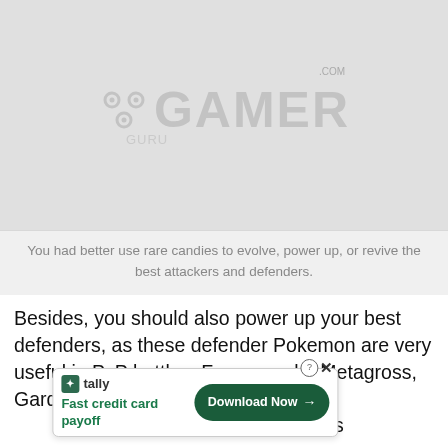[Figure (photo): Large light gray placeholder image with GuruGamer.com watermark logo in the center]
You had better use rare candies to evolve, power up, or revive the best attackers and defenders.
Besides, you should also power up your best defenders, as these defender Pokemon are very useful in PvP battles. For example, Metagross, Gardevoir, Lapras, Chansey, and Blis [ad overlay] ise rare candies